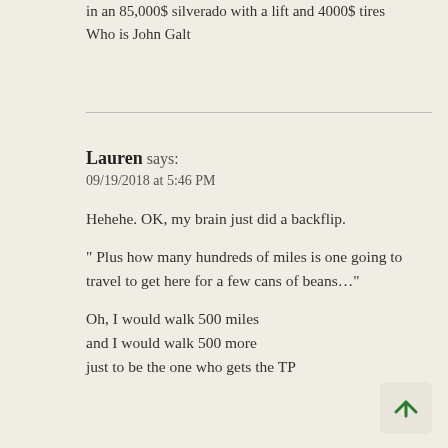in an 85,000$ silverado with a lift and 4000$ tires
Who is John Galt
Lauren says:
09/19/2018 at 5:46 PM
Hehehe. OK, my brain just did a backflip.
" Plus how many hundreds of miles is one going to travel to get here for a few cans of beans…"
Oh, I would walk 500 miles
and I would walk 500 more
just to be the one who gets the TP